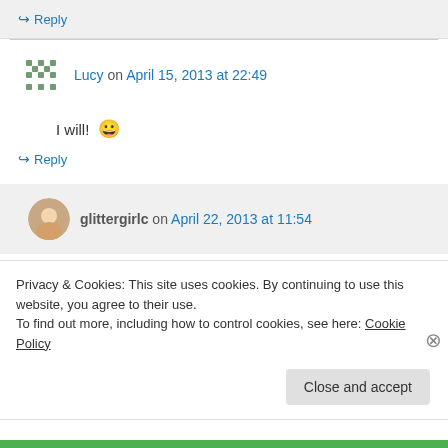↪ Reply
Lucy on April 15, 2013 at 22:49
I will! 😀
↪ Reply
glittergirlc on April 22, 2013 at 11:54
Privacy & Cookies: This site uses cookies. By continuing to use this website, you agree to their use.
To find out more, including how to control cookies, see here: Cookie Policy
Close and accept